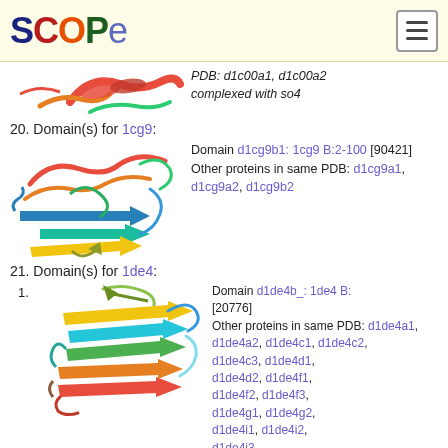SCOPe
[Figure (illustration): Protein structure ribbon diagram for top entry, partial view]
PDB: d1c00a1, d1c00a2 complexed with so4
20. Domain(s) for 1cg9:
[Figure (illustration): Protein structure ribbon diagram for 1cg9]
Domain d1cg9b1: 1cg9 B:2-100 [90421] Other proteins in same PDB: d1cg9a1, d1cg9a2, d1cg9b2
21. Domain(s) for 1de4:
1.
[Figure (illustration): Protein structure ribbon diagram for 1de4]
Domain d1de4b_: 1de4 B: [20776] Other proteins in same PDB: d1de4a1, d1de4a2, d1de4c1, d1de4c2, d1de4c3, d1de4d1, d1de4d2, d1de4f1, d1de4f2, d1de4f3, d1de4g1, d1de4g2, d1de4i1, d1de4i2, d1de4i3